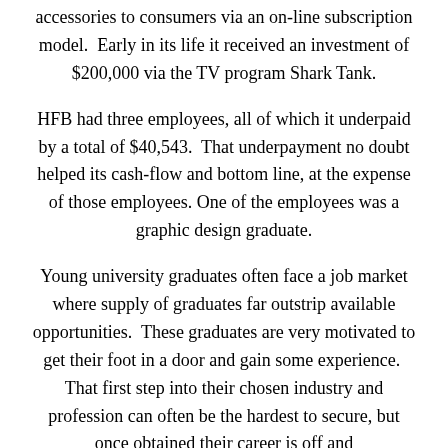accessories to consumers via an on-line subscription model.  Early in its life it received an investment of $200,000 via the TV program Shark Tank.
HFB had three employees, all of which it underpaid by a total of $40,543.  That underpayment no doubt helped its cash-flow and bottom line, at the expense of those employees.  One of the employees was a graphic design graduate.
Young university graduates often face a job market where supply of graduates far outstrip available opportunities.  These graduates are very motivated to get their foot in a door and gain some experience.  That first step into their chosen industry and profession can often be the hardest to secure, but once obtained their career is off and